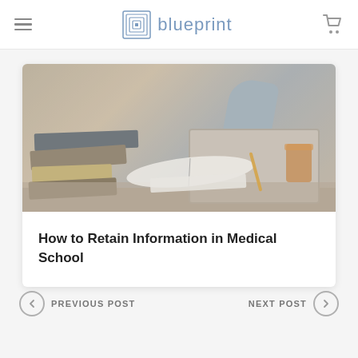blueprint
[Figure (photo): Stack of books on a desk with a person writing in the background, laptop visible]
How to Retain Information in Medical School
PREVIOUS POST
NEXT POST